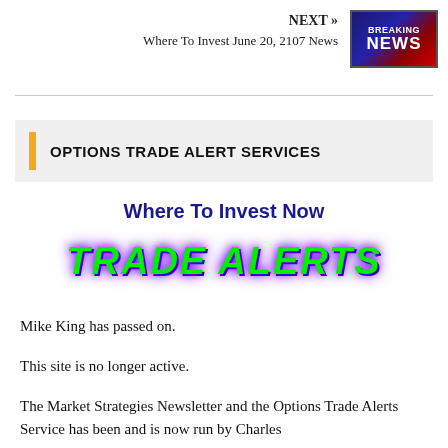NEXT » Where To Invest June 20, 2107 News
[Figure (illustration): Breaking News logo graphic with dark blue and red background, white bold text reading BREAKING NEWS]
OPTIONS TRADE ALERT SERVICES
Where To Invest Now
TRADE ALERTS
Mike King has passed on.
This site is no longer active.
The Market Strategies Newsletter and the Options Trade Alerts Service has been and is now run by Charles